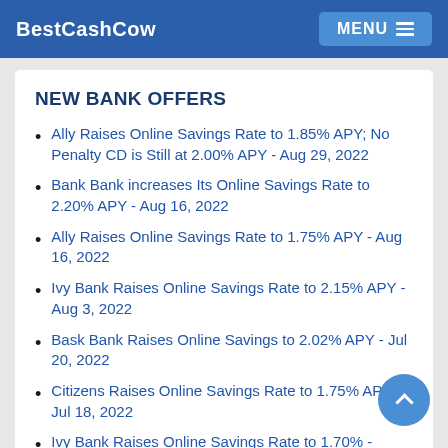BestCashCow  MENU
NEW BANK OFFERS
Ally Raises Online Savings Rate to 1.85% APY; No Penalty CD is Still at 2.00% APY - Aug 29, 2022
Bank Bank increases Its Online Savings Rate to 2.20% APY - Aug 16, 2022
Ally Raises Online Savings Rate to 1.75% APY - Aug 16, 2022
Ivy Bank Raises Online Savings Rate to 2.15% APY - Aug 3, 2022
Bask Bank Raises Online Savings to 2.02% APY - Jul 20, 2022
Citizens Raises Online Savings Rate to 1.75% APY - Jul 18, 2022
Ivy Bank Raises Online Savings Rate to 1.70% -